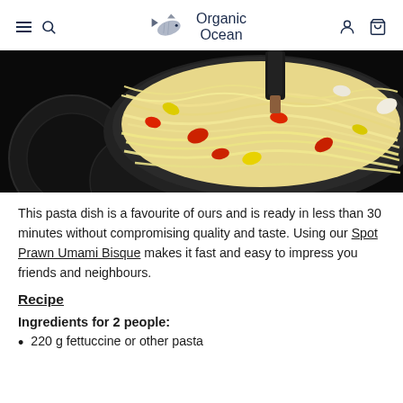Organic Ocean
[Figure (photo): Close-up photo of a pan with fettuccine pasta, red and yellow bell pepper pieces being cooked on an induction stovetop, with a dark spatula visible at the top.]
This pasta dish is a favourite of ours and is ready in less than 30 minutes without compromising quality and taste. Using our Spot Prawn Umami Bisque makes it fast and easy to impress you friends and neighbours.
Recipe
Ingredients for 2 people:
220 g fettuccine or other pasta